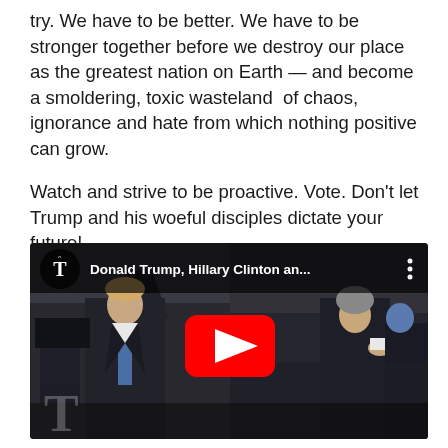try. We have to be better. We have to be stronger together before we destroy our place as the greatest nation on Earth — and become a smoldering, toxic wasteland  of chaos, ignorance and hate from which nothing positive can grow.
Watch and strive to be proactive. Vote. Don't let Trump and his woeful disciples dictate your future!
[Figure (screenshot): YouTube video thumbnail showing Donald Trump on the left with his arm raised, wearing a dark suit and blue tie, and Hillary Clinton on the right in a dark outfit, both at campaign events. The video is from the New York Times. Title overlay reads 'Donald Trump, Hillary Clinton an...' with NYT logo and YouTube play button.]